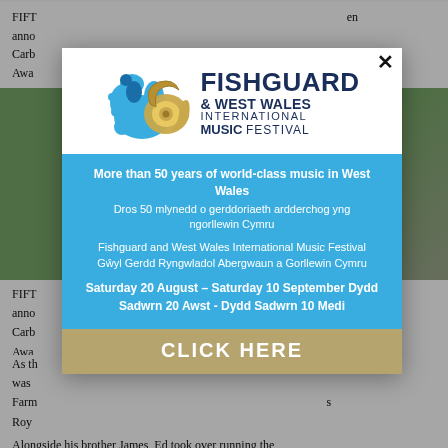[Figure (photo): Background photo of a person outdoors with green grass/field visible]
FIFT... announced ... Carbon ... Award
As th... was... Farm... Royal... commitment to creating a low carbon poultry system.
Alongside his brother James, Ed took over running the
[Figure (logo): Fishguard & West Wales International Music Festival modal popup advertisement. Contains logo with horn and decorative splash, blue banner with bilingual text in English and Welsh, dates Saturday 20 August - Saturday 10 September / Dydd Sadwrn 20 Awst - Dydd Sadwrn 10 Medi, and gold CLICK HERE button.]